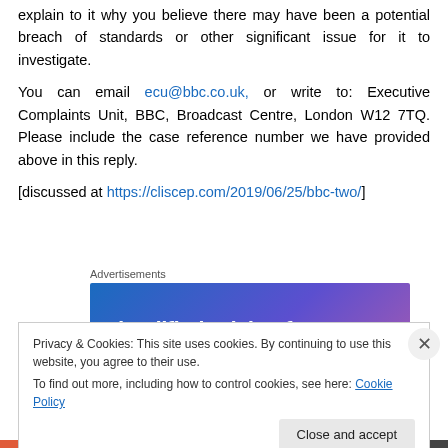explain to it why you believe there may have been a potential breach of standards or other significant issue for it to investigate.
You can email ecu@bbc.co.uk, or write to: Executive Complaints Unit, BBC, Broadcast Centre, London W12 7TQ. Please include the case reference number we have provided above in this reply.
[discussed at https://cliscep.com/2019/06/25/bbc-two/]
[Figure (other): Advertisement banner with blue-purple gradient background and text 'Simplified pricing for']
Privacy & Cookies: This site uses cookies. By continuing to use this website, you agree to their use. To find out more, including how to control cookies, see here: Cookie Policy